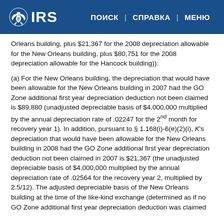IRS | ПОИСК | СПРАВКА | МЕНЮ
Orleans building, plus $21,367 for the 2008 depreciation allowable for the New Orleans building, plus $80,751 for the 2008 depreciation allowable for the Hancock building)):
(a) For the New Orleans building, the depreciation that would have been allowable for the New Orleans building in 2007 had the GO Zone additional first year depreciation deduction not been claimed is $89,880 (unadjusted depreciable basis of $4,000,000 multiplied by the annual depreciation rate of .02247 for the 2nd month for recovery year 1). In addition, pursuant to § 1.168(i)-6(e)(2)(i), K's depreciation that would have been allowable for the New Orleans building in 2008 had the GO Zone additional first year depreciation deduction not been claimed in 2007 is $21,367 (the unadjusted depreciable basis of $4,000,000 multiplied by the annual depreciation rate of .02564 for the recovery year 2, multiplied by 2.5/12). The adjusted depreciable basis of the New Orleans building at the time of the like-kind exchange (determined as if no GO Zone additional first year depreciation deduction was claimed